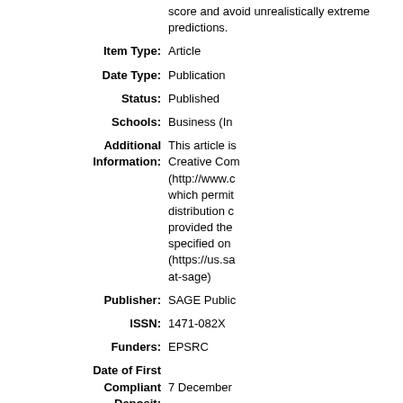score and avoid unrealistically extreme predictions.
| Item Type: | Article |
| Date Type: | Publication |
| Status: | Published |
| Schools: | Business (In... |
| Additional Information: | This article is... Creative Com... (http://www.c... which permit... distribution c... provided the... specified on... (https://us.sa... at-sage) |
| Publisher: | SAGE Public... |
| ISSN: | 1471-082X |
| Funders: | EPSRC |
| Date of First Compliant Deposit: | 7 December... |
| Date of Acceptance: | 1 July 2016 |